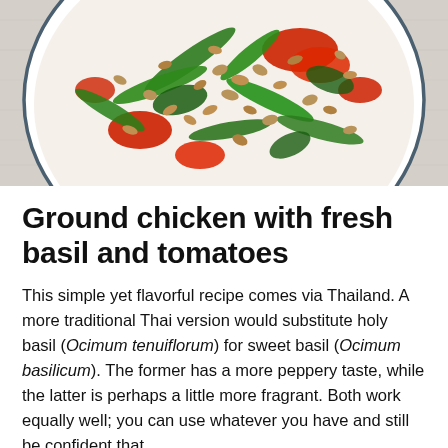[Figure (photo): A white bowl viewed from above containing Thai stir-fry dish with ground chicken, fresh green basil leaves, green beans, and red tomatoes on a light wooden surface]
Ground chicken with fresh basil and tomatoes
This simple yet flavorful recipe comes via Thailand. A more traditional Thai version would substitute holy basil (Ocimum tenuiflorum) for sweet basil (Ocimum basilicum). The former has a more peppery taste, while the latter is perhaps a little more fragrant. Both work equally well; you can use whatever you have and still be confident that